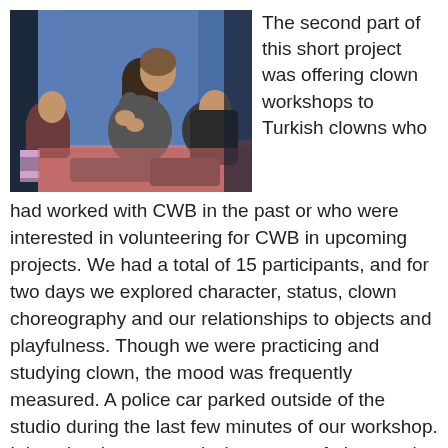[Figure (photo): Two people sitting on a mat on the floor inside a tent or room with blue walls. One person with long hair appears to be demonstrating or performing something while another person watches from the side. A third person is partially visible in the background.]
The second part of this short project was offering clown workshops to Turkish clowns who had worked with CWB in the past or who were interested in volunteering for CWB in upcoming projects. We had a total of 15 participants, and for two days we explored character, status, clown choreography and our relationships to objects and playfulness. Though we were practicing and studying clown, the mood was frequently measured. A police car parked outside of the studio during the last few minutes of our workshop. It kept its sirens on and what sense of play was in the room was